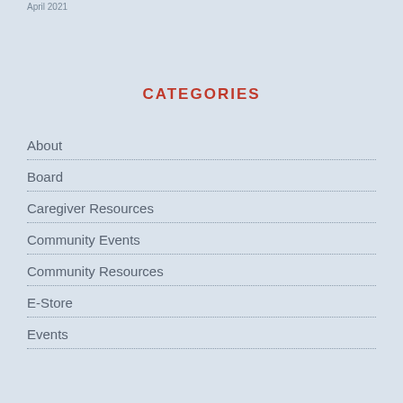April 2021
CATEGORIES
About
Board
Caregiver Resources
Community Events
Community Resources
E-Store
Events